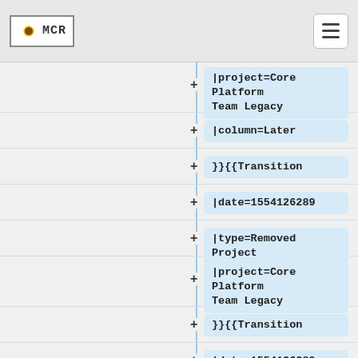[Figure (logo): MCR logo with sunflower icon in brackets]
|project=Core Platform Team Legacy
|column=Later
}}{{Transition
|date=1554126289
|type=Removed Project
|project=Core Platform Team Legacy
}}{{Transition
|date=1554126289
|type=Added Project
|project=Core Platform Team Legacy (Later)
}}{{Transition